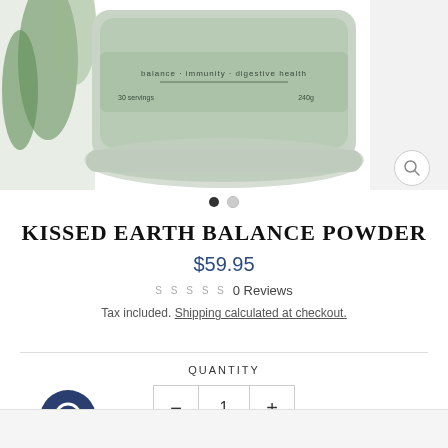[Figure (photo): Product photo of Kissed Earth Balance Powder tub in sage green. Label reads 'balance · immunity · digestive health', '30 servings', '240g'. Partially visible green leaves on left and white product on right edge.]
KISSED EARTH BALANCE POWDER
$59.95
SSSSS 0 Reviews
Tax included. Shipping calculated at checkout.
QUANTITY
1